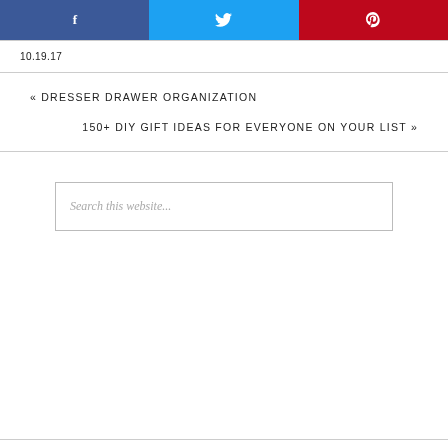[Figure (other): Social media share buttons: Facebook (blue), Twitter (cyan), Pinterest (red)]
10.19.17
« DRESSER DRAWER ORGANIZATION
150+ DIY GIFT IDEAS FOR EVERYONE ON YOUR LIST »
Search this website...